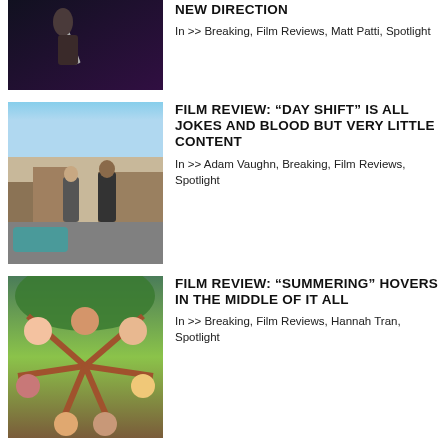[Figure (photo): Dark scene, possibly a thriller film still with a character holding a knife]
NEW DIRECTION
In >> Breaking, Film Reviews, Matt Patti, Spotlight
[Figure (photo): Two men on a street, one in a suit with a bag, one in casual clothes — film still from Day Shift]
FILM REVIEW: “DAY SHIFT” IS ALL JOKES AND BLOOD BUT VERY LITTLE CONTENT
In >> Adam Vaughn, Breaking, Film Reviews, Spotlight
[Figure (photo): Children looking up at camera from below a playground structure surrounded by trees — film still from Summering]
FILM REVIEW: “SUMMERING” HOVERS IN THE MIDDLE OF IT ALL
In >> Breaking, Film Reviews, Hannah Tran, Spotlight
REVIEWS BY VICTORIA ALEXANDER